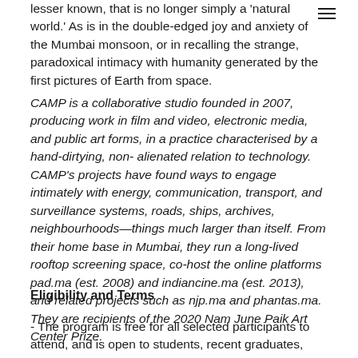lesser known, that is no longer simply a 'natural world.' As is in the double-edged joy and anxiety of the Mumbai monsoon, or in recalling the strange, paradoxical intimacy with humanity generated by the first pictures of Earth from space.
CAMP is a collaborative studio founded in 2007, producing work in film and video, electronic media, and public art forms, in a practice characterised by a hand-dirtying, non-alienated relation to technology. CAMP's projects have found ways to engage intimately with energy, communication, transport, and surveillance systems, roads, ships, archives, neighbourhoods—things much larger than itself. From their home base in Mumbai, they run a long-lived rooftop screening space, co-host the online platforms pad.ma (est. 2008) and indiancine.ma (est. 2013), and related projects such as njp.ma and phantas.ma. They are recipients of the 2020 Nam June Paik Art Center Prize.
Eligibility and Terms
- The program is free for all selected participants to attend, and is open to students, recent graduates, writers, artists